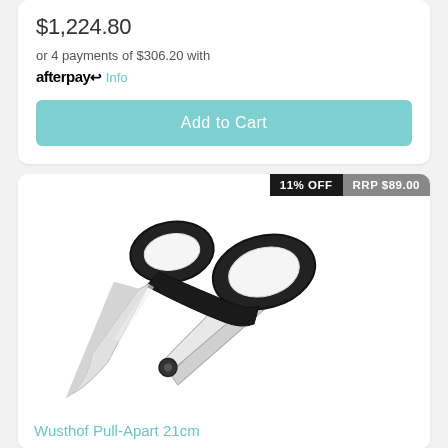$1,224.80
or 4 payments of $306.20 with afterpay Info
Add to Cart
11% OFF
RRP $89.00
[Figure (photo): Kitchen scissors (Wusthof Pull-Apart 21cm) with black handles and stainless steel blades, displayed on white background]
Wusthof Pull-Apart 21cm